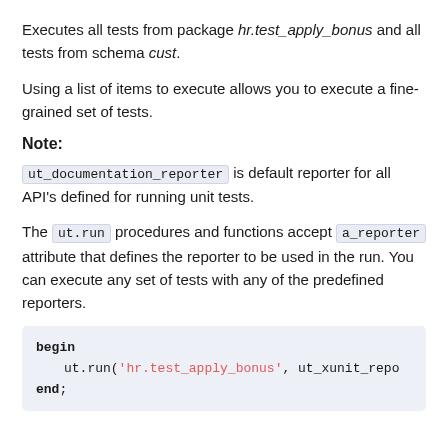Executes all tests from package hr.test_apply_bonus and all tests from schema cust.
Using a list of items to execute allows you to execute a fine-grained set of tests.
Note:
ut_documentation_reporter is default reporter for all API's defined for running unit tests.
The ut.run procedures and functions accept a_reporter attribute that defines the reporter to be used in the run. You can execute any set of tests with any of the predefined reporters.
begin
    ut.run('hr.test_apply_bonus', ut_xunit_repo
end;